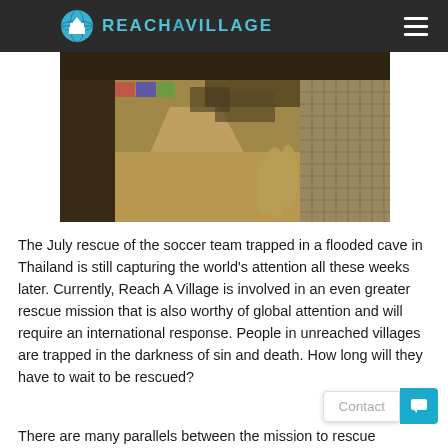REACH A VILLAGE
[Figure (photo): A dirt path through a village in Thailand or Southeast Asia, with thatched-roof structures and bamboo woven walls on the right side]
The July rescue of the soccer team trapped in a flooded cave in Thailand is still capturing the world's attention all these weeks later. Currently, Reach A Village is involved in an even greater rescue mission that is also worthy of global attention and will require an international response. People in unreached villages are trapped in the darkness of sin and death. How long will they have to wait to be rescued?
There are many parallels between the mission to rescue